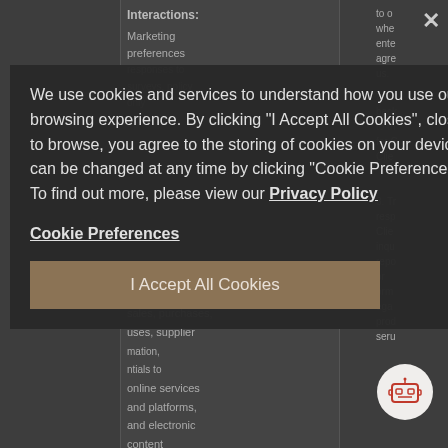[Figure (screenshot): Partially visible table with dark background showing legal document content including 'Interactions:', 'Marketing preferences', 'Transactions, sales, purchases, uses, supplier information, credentials to online services and platforms, and electronic content produced by individuals using company systems, including online' text in columns]
We use cookies and services to understand how you use our site and to improve your browsing experience. By clicking "I Accept All Cookies", closing the bar, or continuing to browse, you agree to the storing of cookies on your device. Your cookie settings can be changed at any time by clicking "Cookie Preferences" in the footer of this site. To find out more, please view our Privacy Policy
Cookie Preferences
I Accept All Cookies